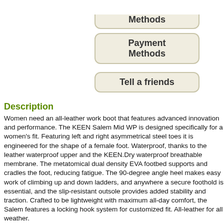[Figure (screenshot): Partially visible button labeled 'Shipping Methods' at the top]
[Figure (screenshot): Button labeled 'Payment Methods']
[Figure (screenshot): Button labeled 'Tell a friends']
Description
Women need an all-leather work boot that features advanced innovation and performance. The KEEN Salem Mid WP is designed specifically for a women's fit. Featuring left and right asymmetrical steel toes it is engineered for the shape of a female foot. Waterproof, thanks to the leather waterproof upper and the KEEN.Dry waterproof breathable membrane. The metatomical dual density EVA footbed supports and cradles the foot, reducing fatigue. The 90-degree angle heel makes easy work of climbing up and down ladders, and anywhere a secure foothold is essential, and the slip-resistant outsole provides added stability and traction. Crafted to be lightweight with maximum all-day comfort, the Salem features a locking hook system for customized fit. All-leather for all weather.
90 degree heel
- Dual density compression molded EVA midsole
- KEEN.Dry waterproof breathable membrane
- Left and right asymmetrical steel toe
- Locking metal hooks and lacing eyelets
- Meets or exceeds ASTM F1677-96 Mark II non-slip testing standard
- Meets or exceeds ASTM F2412-11 and F2413-11 I/75 C/75 EH standards
- Oil and slip resistant non-marking rubber outsole
- Removable metatomical dual density EVA footbed